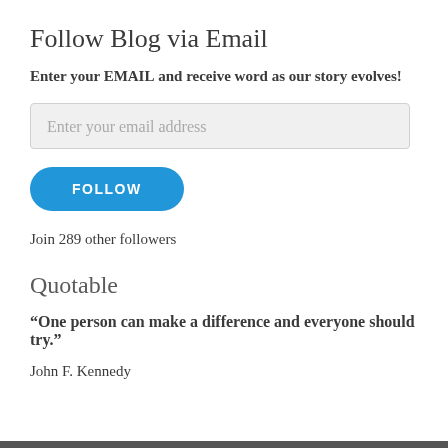Follow Blog via Email
Enter your EMAIL and receive word as our story evolves!
Enter your email address
FOLLOW
Join 289 other followers
Quotable
“One person can make a difference and everyone should try.”
John F. Kennedy